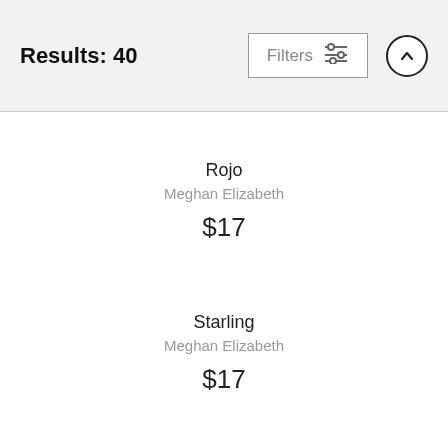Results: 40  Filters  ↑
Rojo
Meghan Elizabeth
$17
Starling
Meghan Elizabeth
$17
Bella